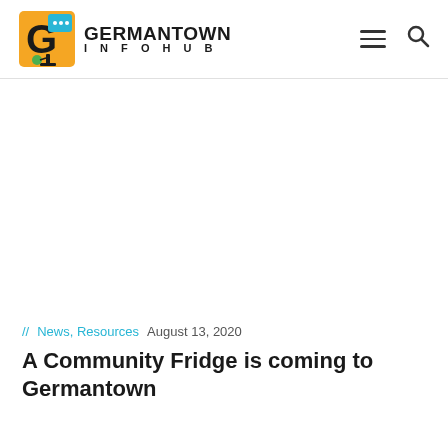GERMANTOWN INFOHUB
// News, Resources   August 13, 2020
A Community Fridge is coming to Germantown